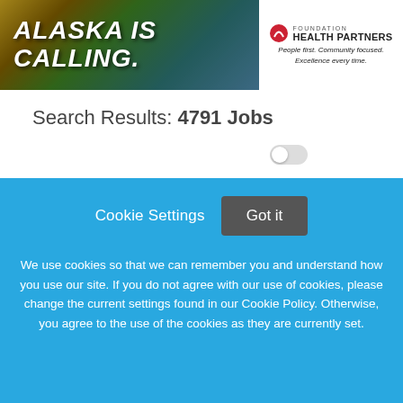[Figure (screenshot): Banner advertisement for Foundation Health Partners with 'Alaska is Calling.' text over nature imagery, and logo with tagline 'People first. Community focused. Excellence every time.']
Search Results: 4791 Jobs
Sort By ▼
Save Agent
[Figure (screenshot): Partial job card area with yellow/gold border, content partially visible]
Cookie Settings  Got it
We use cookies so that we can remember you and understand how you use our site. If you do not agree with our use of cookies, please change the current settings found in our Cookie Policy. Otherwise, you agree to the use of the cookies as they are currently set.